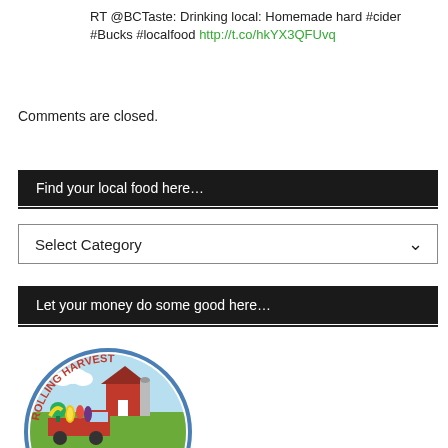RT @BCTaste: Drinking local: Homemade hard #cider #Bucks #localfood http://t.co/hkYX3QFUvq
Comments are closed.
Find your local food here…
Select Category
Let your money do some good here…
[Figure (logo): Rolling Harvest circular logo with barn, vegetables, and red truck illustration]